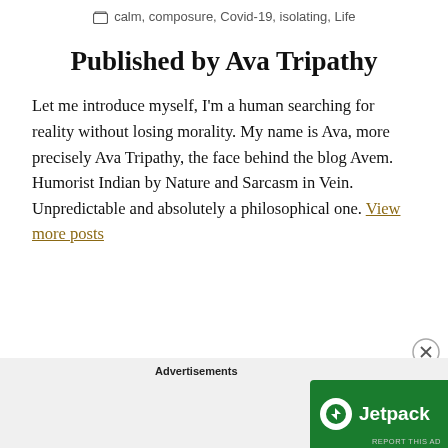calm, composure, Covid-19, isolating, Life
Published by Ava Tripathy
Let me introduce myself, I'm a human searching for reality without losing morality. My name is Ava, more precisely Ava Tripathy, the face behind the blog Avem. Humorist Indian by Nature and Sarcasm in Vein. Unpredictable and absolutely a philosophical one. View more posts
Advertisements
[Figure (other): Jetpack advertisement banner with logo on the left and 'Back up your site' button on the right, on a green background]